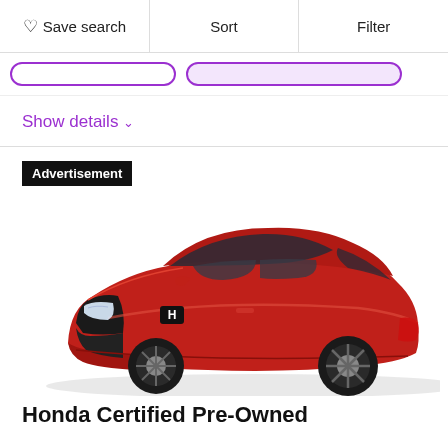Save search | Sort | Filter
Show details
Advertisement
[Figure (photo): Red Honda Civic sedan, 3/4 front view on white background]
Honda Certified Pre-Owned